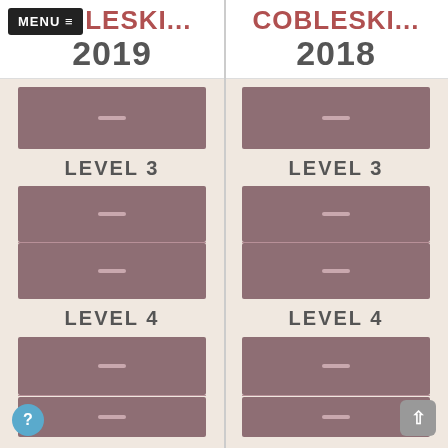MENU ≡ COBLESKI... 2019
COBLESKI... 2018
[Figure (infographic): Two-column comparison UI showing COBLESKI 2019 (left) and COBLESKI 2018 (right), each with level blocks (LEVEL 3, LEVEL 4) with mauve colored bar placeholders and dash icons, on a beige background.]